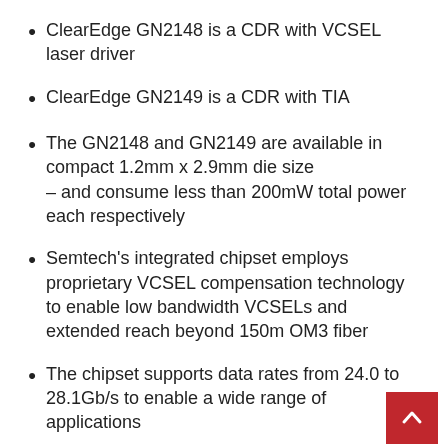ClearEdge GN2148 is a CDR with VCSEL laser driver
ClearEdge GN2149 is a CDR with TIA
The GN2148 and GN2149 are available in compact 1.2mm x 2.9mm die size – and consume less than 200mW total power each respectively
Semtech's integrated chipset employs proprietary VCSEL compensation technology to enable low bandwidth VCSELs and extended reach beyond 150m OM3 fiber
The chipset supports data rates from 24.0 to 28.1Gb/s to enable a wide range of applications